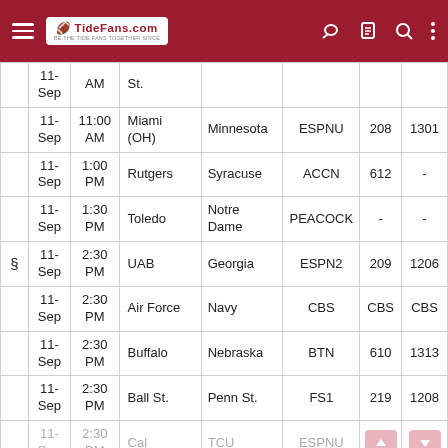TideFans.com navigation header
|  | Date | Time | Away | Home | Network | Ch1 | Ch2 |
| --- | --- | --- | --- | --- | --- | --- | --- |
|  | 11-Sep | AM | St. |  |  |  |  |
|  | 11-Sep | 11:00 AM | Miami (OH) | Minnesota | ESPNU | 208 | 1301 |
|  | 11-Sep | 1:00 PM | Rutgers | Syracuse | ACCN | 612 | - |
|  | 11-Sep | 1:30 PM | Toledo | Notre Dame | PEACOCK | - | - |
| § | 11-Sep | 2:30 PM | UAB | Georgia | ESPN2 | 209 | 1206 |
|  | 11-Sep | 2:30 PM | Air Force | Navy | CBS | CBS | CBS |
|  | 11-Sep | 2:30 PM | Buffalo | Nebraska | BTN | 610 | 1313 |
|  | 11-Sep | 2:30 PM | Ball St. | Penn St. | FS1 | 219 | 1208 |
|  | 11-Sep | 2:30 PM | Cal | TCU | ESPNU |  |  |